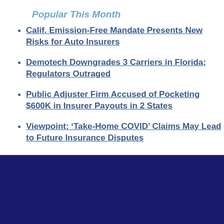Popular This Month
Calif. Emission-Free Mandate Presents New Risks for Auto Insurers
Demotech Downgrades 3 Carriers in Florida; Regulators Outraged
Public Adjuster Firm Accused of Pocketing $600K in Insurer Payouts in 2 States
Viewpoint: ‘Take-Home COVID’ Claims May Lead to Future Insurance Disputes